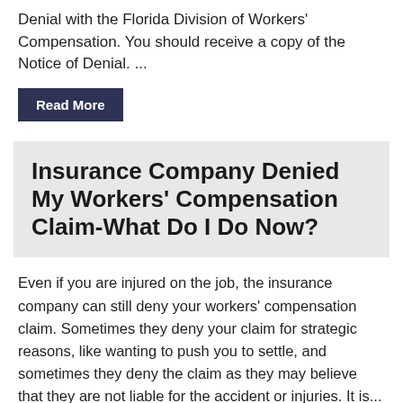Denial with the Florida Division of Workers' Compensation.  You should receive a copy of the Notice of Denial. ...
Read More
Insurance Company Denied My Workers' Compensation Claim-What Do I Do Now?
Even if you are injured on the job, the insurance company can still deny your workers' compensation claim. Sometimes they deny your claim for strategic reasons, like wanting to push you to settle, and sometimes they deny the claim as they may believe that they are not liable for the accident or injuries. It is...